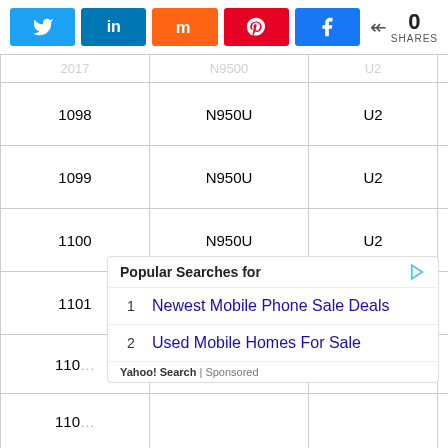[Figure (other): Social sharing buttons: Twitter, LinkedIn, Mix, Pinterest, Facebook, and a share count showing 0 SHARES]
|  | N950U | U2 | November | N950U |
| --- | --- | --- | --- | --- |
| 1098 | N950U | U2 | November | COMB N950 N |
| 1099 | N950U | U2 | November | COMB N950U |
| 1100 | N950U | U2 | December | COMB N950U |
| 1101 | N950U | U3 | January | COMB N950U |
| 110… | … | … | … | COMB N950U |
| 110… | … | … | … | COMB N950 N |
Popular Searches for
1  Newest Mobile Phone Sale Deals
2  Used Mobile Homes For Sale
Yahoo! Search | Sponsored